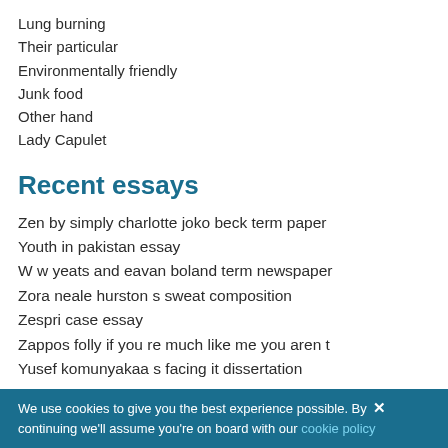Lung burning
Their particular
Environmentally friendly
Junk food
Other hand
Lady Capulet
Recent essays
Zen by simply charlotte joko beck term paper
Youth in pakistan essay
W w yeats and eavan boland term newspaper
Zora neale hurston s sweat composition
Zespri case essay
Zappos folly if you re much like me you aren t
Yusef komunyakaa s facing it dissertation
Youtube film review adopt life
Why kiosks represent the continuing future of pos
Young hunting essay
We use cookies to give you the best experience possible. By continuing we'll assume you're on board with our cookie policy